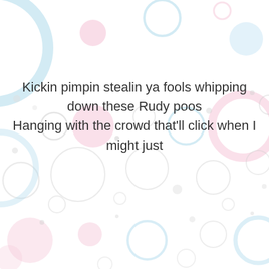[Figure (illustration): Colorful bubble/circle pattern background with various sized circles in light pink, light blue, and outline styles scattered across a white background]
Kickin pimpin stealin ya fools whipping down these Rudy poos
Hanging with the crowd that'll click when I might just